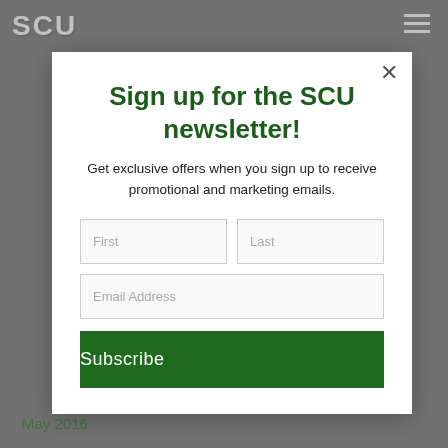SCU
Sign up for the SCU newsletter!
Get exclusive offers when you sign up to receive promotional and marketing emails.
First
Last
Email Address
Subscribe
May 2016